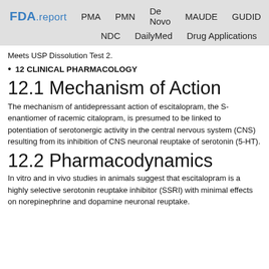FDA.report  PMA  PMN  De Novo  MAUDE  GUDID  NDC  DailyMed  Drug Applications
Meets USP Dissolution Test 2.
12 CLINICAL PHARMACOLOGY
12.1 Mechanism of Action
The mechanism of antidepressant action of escitalopram, the S-enantiomer of racemic citalopram, is presumed to be linked to potentiation of serotonergic activity in the central nervous system (CNS) resulting from its inhibition of CNS neuronal reuptake of serotonin (5-HT).
12.2 Pharmacodynamics
In vitro and in vivo studies in animals suggest that escitalopram is a highly selective serotonin reuptake inhibitor (SSRI) with minimal effects on norepinephrine and dopamine neuronal reuptake.